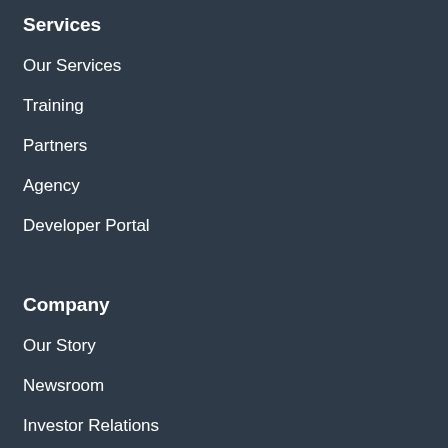Services
Our Services
Training
Partners
Agency
Developer Portal
Company
Our Story
Newsroom
Investor Relations
Culture & Talent